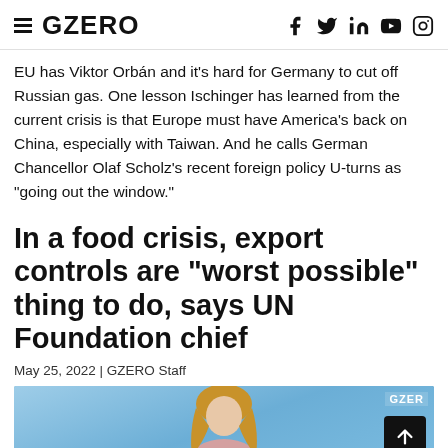GZERO
EU has Viktor Orbán and it's hard for Germany to cut off Russian gas. One lesson Ischinger has learned from the current crisis is that Europe must have America's back on China, especially with Taiwan. And he calls German Chancellor Olaf Scholz's recent foreign policy U-turns as "going out the window."
In a food crisis, export controls are "worst possible" thing to do, says UN Foundation chief
May 25, 2022 | GZERO Staff
[Figure (photo): Photo of a woman with blonde hair against a blue background, with GZERO watermark in top right and a scroll-to-top button overlay in bottom right]